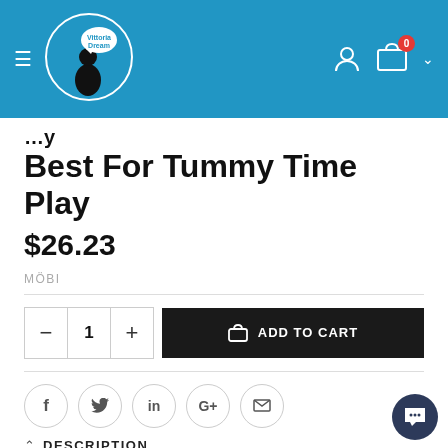[Figure (logo): Vittoria Dream logo — girl silhouette with speech bubble on blue header background]
Best For Tummy Time Play
$26.23
MÖBI
ADD TO CART
[Figure (infographic): Social sharing icons: Facebook, Twitter, LinkedIn, Google+, Email]
DESCRIPTION